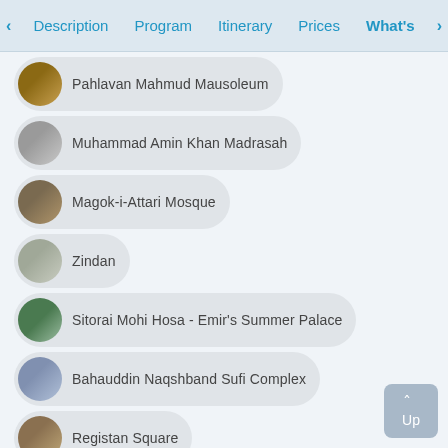Description | Program | Itinerary | Prices | What's
Pahlavan Mahmud Mausoleum
Muhammad Amin Khan Madrasah
Magok-i-Attari Mosque
Zindan
Sitorai Mohi Hosa - Emir's Summer Palace
Bahauddin Naqshband Sufi Complex
Registan Square
Shah-i-Zinda Necropolis
Gur Emir - Burial Vault of Timurids